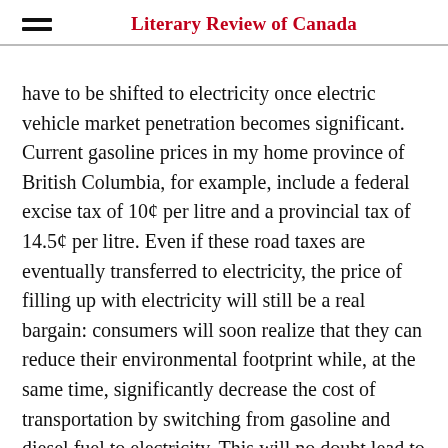Literary Review of Canada
have to be shifted to electricity once electric vehicle market penetration becomes significant. Current gasoline prices in my home province of British Columbia, for example, include a federal excise tax of 10¢ per litre and a provincial tax of 14.5¢ per litre. Even if these road taxes are eventually transferred to electricity, the price of filling up with electricity will still be a real bargain: consumers will soon realize that they can reduce their environmental footprint while, at the same time, significantly decrease the cost of transportation by switching from gasoline and diesel fuel to electricity. This will no doubt lead to most drivers enthusiastically embracing the new technology.
In the longer term, a transition to the new